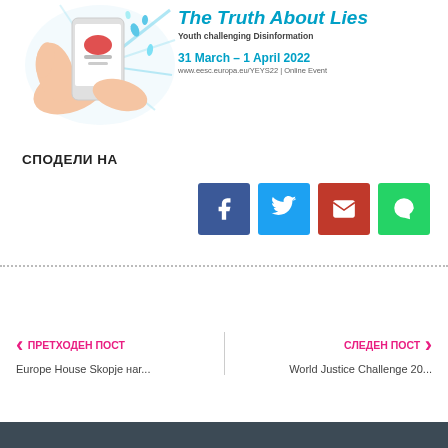[Figure (illustration): Illustration of hands holding a smartphone with splashing colorful elements, part of 'The Truth About Lies – Youth challenging Disinformation' event banner for 31 March – 1 April 2022]
СПОДЕЛИ НА
[Figure (infographic): Social share buttons: Facebook (blue), Twitter (light blue), Email (red), WhatsApp (green)]
ПРЕТХОДЕН ПОСТ
Europe House Skopje нar...
СЛЕДЕН ПОСТ
World Justice Challenge 20...